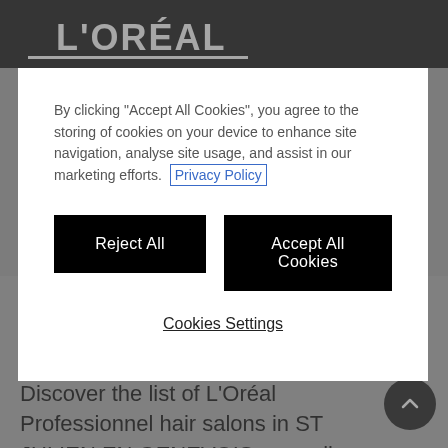L'ORÉAL
By clicking "Accept All Cookies", you agree to the storing of cookies on your device to enhance site navigation, analyse site usage, and assist in our marketing efforts. Privacy Policy
Reject All
Accept All Cookies
Cookies Settings
L'Oréal Professionnel hair salons offer a wide range of services and quality professional products. Discover the list of L'Oréal Professionnel hair salons in ST JULIEN EN GENEVOIS, as well as the opening hours, address and phone